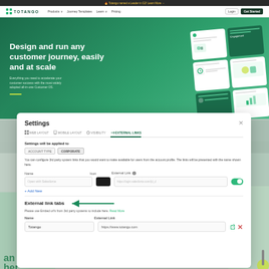[Figure (screenshot): Totango website screenshot showing navigation bar with logo, Products, Journey Templates, Learn, Pricing links and Login/Get Started buttons, plus a green hero section with headline 'Design and run any customer journey, easily and at scale' and UI card illustrations]
[Figure (screenshot): Settings modal dialog with tabs: WEB LAYOUT, MOBILE LAYOUT, VISIBILITY, EXTERNAL LINKS (active). Shows 'Settings will be applied to' with ACCOUNT TYPE / CORPORATE badges, configure 3rd party system links section with Name/Icon/External Link fields, Salesforce entry, Add New button, External link tabs section with arrow annotation, and Totango entry with https://www.totango.com URL.]